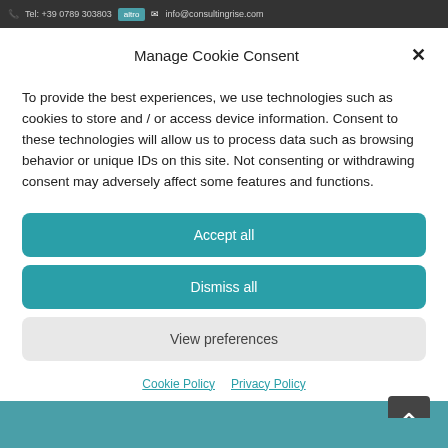Tel: +39 0789 303803  info@consultingrise.com
Manage Cookie Consent
To provide the best experiences, we use technologies such as cookies to store and / or access device information. Consent to these technologies will allow us to process data such as browsing behavior or unique IDs on this site. Not consenting or withdrawing consent may adversely affect some features and functions.
Accept all
Dismiss all
View preferences
Cookie Policy  Privacy Policy